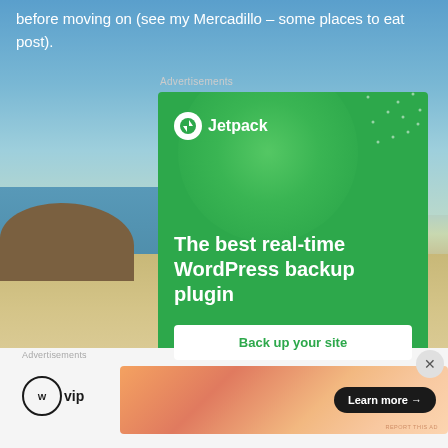before moving on (see my Mercadillo – some places to eat post).
Advertisements
[Figure (screenshot): Jetpack WordPress plugin advertisement on green background. Shows Jetpack logo with lightning bolt icon, headline 'The best real-time WordPress backup plugin', and a white button 'Back up your site'. Green circle decoration in upper portion with dots pattern.]
[Figure (screenshot): WordPress VIP advertisement banner with gradient orange/peach background and a dark 'Learn more →' button]
Advertisements